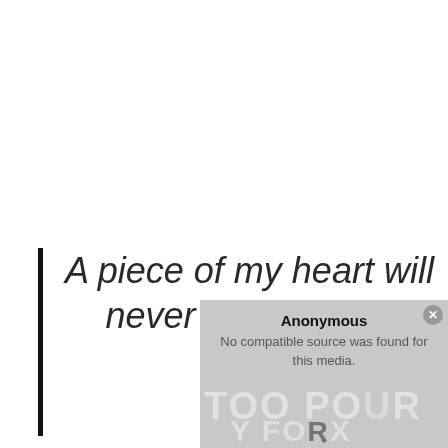A piece of my heart will never be at peace again.
[Figure (screenshot): A media player placeholder with 'Anonymous' title and 'No compatible source was found for this media.' message, overlaid on a faded background image showing text 'TOO POOR' with partial text below.]